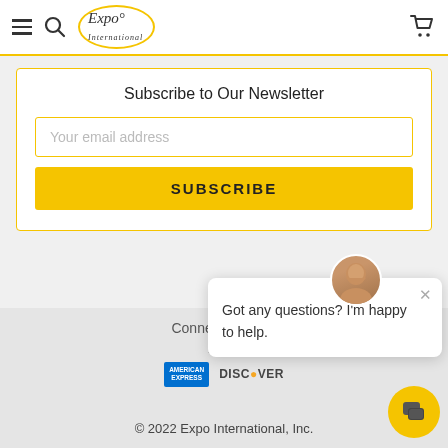Expo International — navigation header with hamburger menu, search, logo, and cart icon
Subscribe to Our Newsletter
Your email address
SUBSCRIBE
Connect With Us
Acce
[Figure (logo): American Express logo — blue box with white text]
[Figure (logo): Discover logo with orange dot]
Got any questions? I'm happy to help.
© 2022 Expo International, Inc.